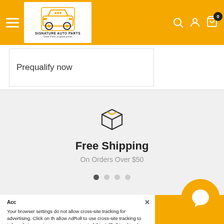[Figure (logo): Signature Auto Parts logo — car icon with text 'SIGNATURE AUTO PARTS, Great Parts at great prices']
Prequalify now
[Figure (illustration): Box/package icon representing free shipping]
Free Shipping
On Orders Over $50
ABOUT THE SHOP
Acc
Your browser settings do not allow cross-site tracking for advertising. Click on th allow AdRoll to use cross-site tracking to tailor ads to you. Learn more or opt out of this AdRoll tracking by clicking here. This message only appears once.